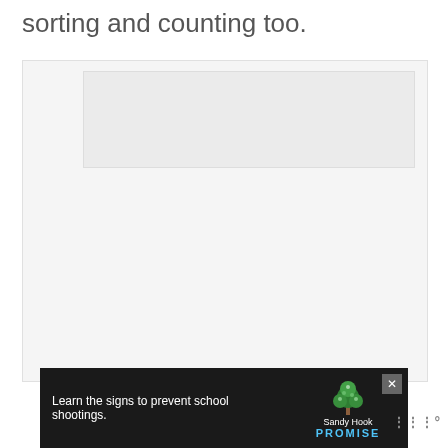sorting and counting too.
[Figure (other): Large whitespace/image placeholder area with a lighter rectangular bar near the top]
[Figure (other): Advertisement banner: dark background with text 'Learn the signs to prevent school shootings.' and Sandy Hook Promise logo with tree graphic and 'PROMISE' text]